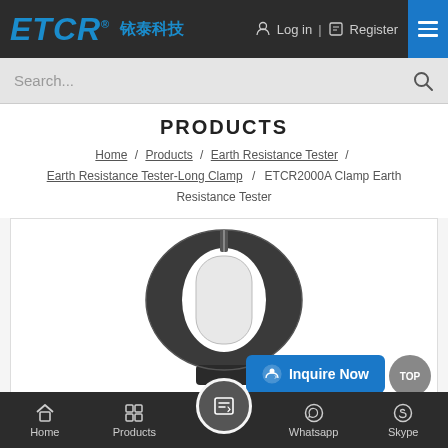ETCR® 铱泰科技 | Log in | Register
Search...
PRODUCTS
Home / Products / Earth Resistance Tester / Earth Resistance Tester-Long Clamp / ETCR2000A Clamp Earth Resistance Tester
[Figure (photo): ETCR2000A Clamp Earth Resistance Tester device - a circular clamp shaped earth resistance testing instrument shown in dark/black color with an oval opening in the center]
Inquire Now
Home | Products | [Inquire] | Whatsapp | Skype